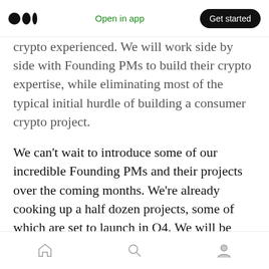Open in app | Get started
crypto experienced. We will work side by side with Founding PMs to build their crypto expertise, while eliminating most of the typical initial hurdle of building a consumer crypto project.
We can't wait to introduce some of our incredible Founding PMs and their projects over the coming months. We're already cooking up a half dozen projects, some of which are set to launch in Q4. We will be building in a number of consumer verticals potentially including social media, gaming, communication/chat, identity and more.
Home | Search | Profile